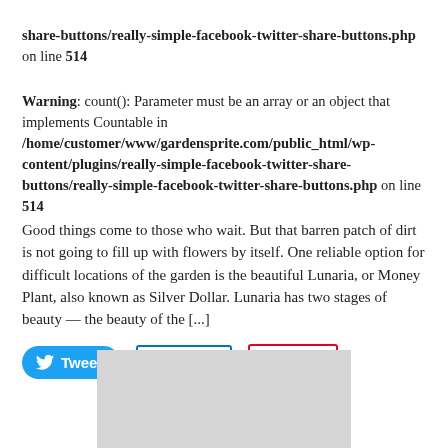share-buttons/really-simple-facebook-twitter-share-buttons.php on line 514
Warning: count(): Parameter must be an array or an object that implements Countable in /home/customer/www/gardensprite.com/public_html/wp-content/plugins/really-simple-facebook-twitter-share-buttons/really-simple-facebook-twitter-share-buttons.php on line 514
Good things come to those who wait. But that barren patch of dirt is not going to fill up with flowers by itself. One reliable option for difficult locations of the garden is the beautiful Lunaria, or Money Plant, also known as Silver Dollar. Lunaria has two stages of beauty — the beauty of the [...]
[Figure (other): Social share buttons: Tweet (Twitter/blue), Share (LinkedIn/blue outline), Save (Pinterest/red outline)]
[Figure (other): Gray placeholder rectangle at bottom center of page]